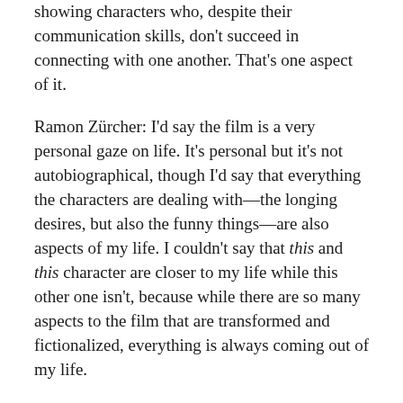showing characters who, despite their communication skills, don't succeed in connecting with one another. That's one aspect of it.
Ramon Zürcher: I'd say the film is a very personal gaze on life. It's personal but it's not autobiographical, though I'd say that everything the characters are dealing with—the longing desires, but also the funny things—are also aspects of my life. I couldn't say that this and this character are closer to my life while this other one isn't, because while there are so many aspects to the film that are transformed and fictionalized, everything is always coming out of my life.
When you were writing, how did you make sure that you'd be able to capture all the feelings that exist throughout the film? There's sexual tension and dread and a desire to rid oneself of loneliness, and it's always